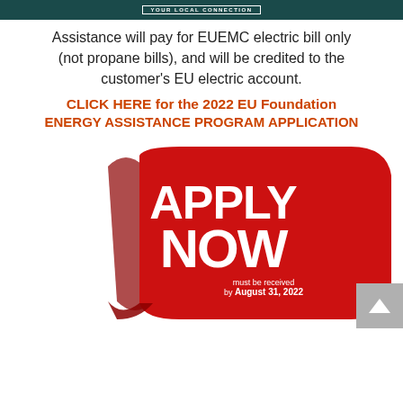YOUR LOCAL CONNECTION
Assistance will pay for EUEMC electric bill only (not propane bills), and will be credited to the customer's EU electric account.
CLICK HERE for the 2022 EU Foundation ENERGY ASSISTANCE PROGRAM APPLICATION
[Figure (illustration): Red ribbon/badge graphic with bold white text reading APPLY NOW, and smaller text: must be received by August 31, 2022]